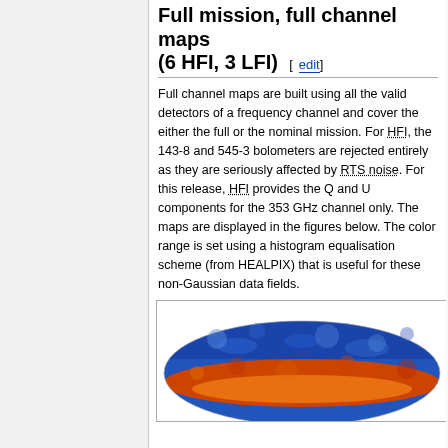Full mission, full channel maps (6 HFI, 3 LFI) [edit]
Full channel maps are built using all the valid detectors of a frequency channel and cover the either the full or the nominal mission. For HFI, the 143-8 and 545-3 bolometers are rejected entirely as they are seriously affected by RTS noise. For this release, HFI provides the Q and U components for the 353 GHz channel only. The maps are displayed in the figures below. The color range is set using a histogram equalisation scheme (from HEALPIX) that is useful for these non-Gaussian data fields.
[Figure (other): Color map of the sky (full mission, full channel) showing a Mollweide-projected CMB/microwave frequency map with orange/red at the galactic plane and blue mottled regions above and below, with title 'LFI 70GHz, full mission, full channel' visible at top.]